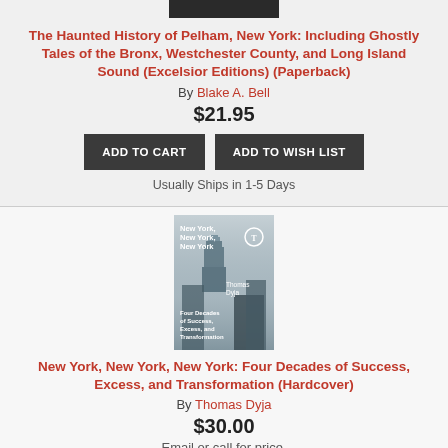[Figure (photo): Top portion of a book cover image, dark/black background]
The Haunted History of Pelham, New York: Including Ghostly Tales of the Bronx, Westchester County, and Long Island Sound (Excelsior Editions) (Paperback)
By Blake A. Bell
$21.95
ADD TO CART
ADD TO WISH LIST
Usually Ships in 1-5 Days
[Figure (photo): Book cover for 'New York, New York, New York: Four Decades of Success, Excess, and Transformation' by Thomas Dyja, showing a foggy New York City skyline with skyscrapers]
New York, New York, New York: Four Decades of Success, Excess, and Transformation (Hardcover)
By Thomas Dyja
$30.00
Email or call for price.